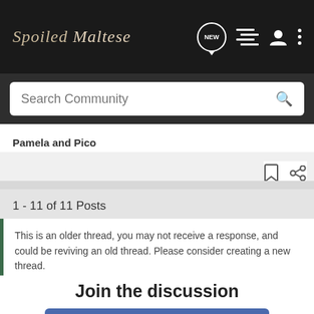Spoiled Maltese
Search Community
Pamela and Pico
1 - 11 of 11 Posts
This is an older thread, you may not receive a response, and could be reviving an old thread. Please consider creating a new thread.
Join the discussion
Continue with Facebook